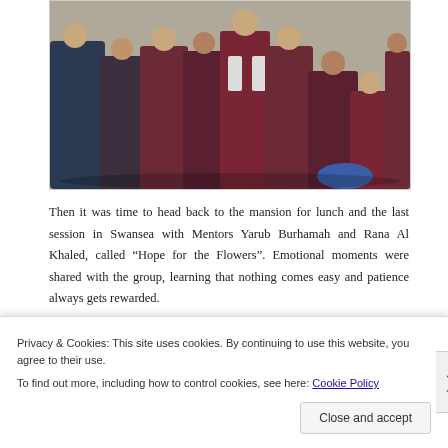[Figure (photo): Group of students/young people standing together outdoors on sandy ground, many wearing maroon/dark red sweatshirts]
Then it was time to head back to the mansion for lunch and the last session in Swansea with Mentors Yarub Burhamah and Rana Al Khaled, called “Hope for the Flowers”. Emotional moments were shared with the group, learning that nothing comes easy and patience always gets rewarded.
[Figure (photo): Partial view of an indoor room or corridor, showing light-colored walls and what appears to be windows or doors]
Privacy & Cookies: This site uses cookies. By continuing to use this website, you agree to their use.
To find out more, including how to control cookies, see here: Cookie Policy